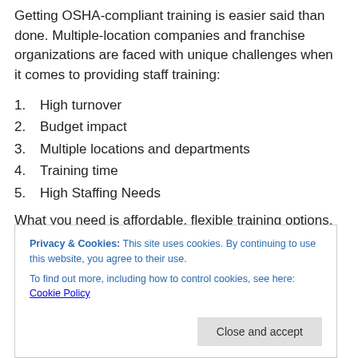Getting OSHA-compliant training is easier said than done. Multiple-location companies and franchise organizations are faced with unique challenges when it comes to providing staff training:
1. High turnover
2. Budget impact
3. Multiple locations and departments
4. Training time
5. High Staffing Needs
What you need is affordable, flexible training options.
Privacy & Cookies: This site uses cookies. By continuing to use this website, you agree to their use. To find out more, including how to control cookies, see here: Cookie Policy
Who We Are